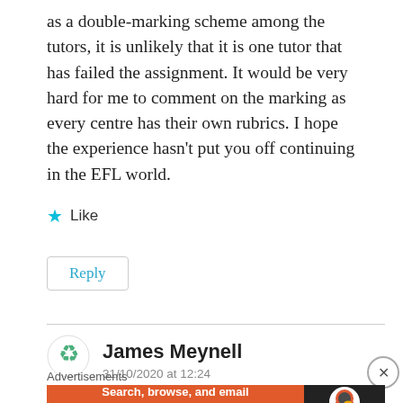as a double-marking scheme among the tutors, it is unlikely that it is one tutor that has failed the assignment. It would be very hard for me to comment on the marking as every centre has their own rubrics. I hope the experience hasn't put you off continuing in the EFL world.
★ Like
Reply
James Meynell
31/10/2020 at 12:24
Advertisements
[Figure (screenshot): DuckDuckGo advertisement banner: orange background with text 'Search, browse, and email with more privacy. All in One Free App' and DuckDuckGo logo on dark background.]